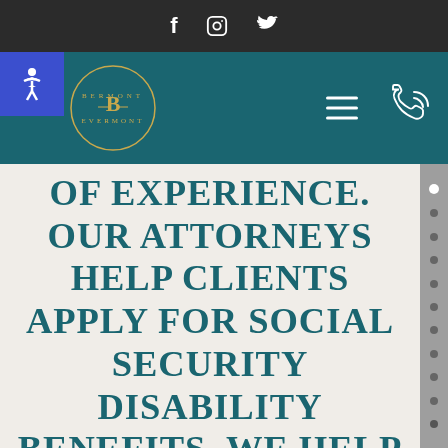[Figure (other): Top dark bar with social media icons: Facebook (f), Instagram, Twitter (bird)]
[Figure (other): Navigation bar with accessibility button, law firm logo (Bérmont law firm circular seal), hamburger menu, and phone/call icon]
[Figure (other): Vertical grey sidebar with navigation dots on the right side]
OF EXPERIENCE. OUR ATTORNEYS HELP CLIENTS APPLY FOR SOCIAL SECURITY DISABILITY BENEFITS. WE HELP APPEAL SSD & SSI DENIALS IN MONROVIA. WE ARE A FAMILY OF ATTORNEYS WITH OUR LAW